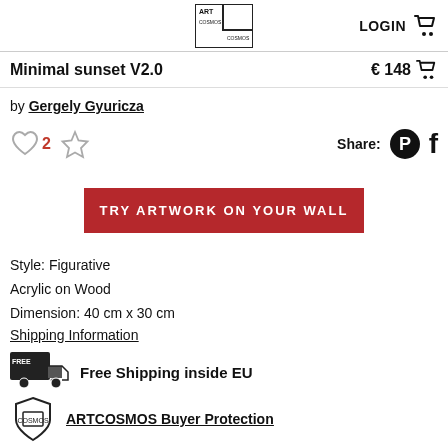ART COSMOS logo | LOGIN
Minimal sunset V2.0 €148
by Gergely Gyuricza
2 likes | Share: Pinterest Facebook
TRY ARTWORK ON YOUR WALL
Style: Figurative
Acrylic on Wood
Dimension: 40 cm x 30 cm
Shipping Information
Free Shipping inside EU
ARTCOSMOS Buyer Protection